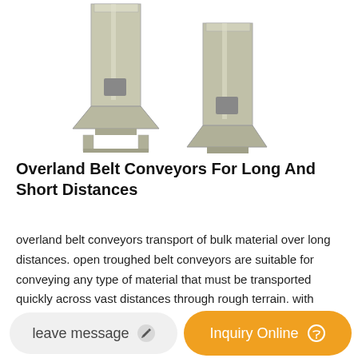[Figure (photo): Two vertical industrial bucket elevator / conveyor units side by side, light grey/beige colored, with hopper outlets at the bottom and structural base frames.]
Overland Belt Conveyors For Long And Short Distances
overland belt conveyors transport of bulk material over long distances. open troughed belt conveyors are suitable for conveying any type of material that must be transported quickly across vast distances through rough terrain. with extremely tight curve radii and large centre distances, these systems enable very high throughput and high
leave message   Inquiry Online